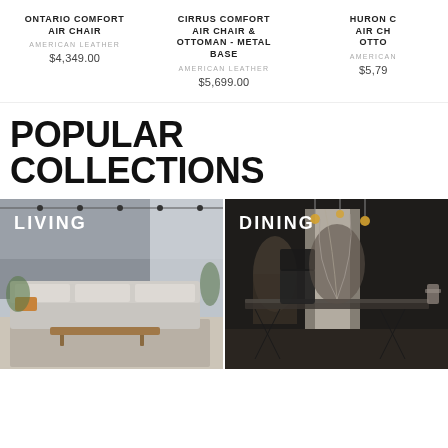ONTARIO COMFORT AIR CHAIR
AMERICAN LEATHER
$4,349.00
CIRRUS COMFORT AIR CHAIR & OTTOMAN - METAL BASE
AMERICAN LEATHER
$5,699.00
HURON C AIR CH OTTO
AMERICAN
$5,79
POPULAR COLLECTIONS
[Figure (photo): Living room interior with grey sectional sofa and warm lighting, labeled LIVING]
[Figure (photo): Dining room interior with dark moody lighting, black chairs and table, labeled DINING]